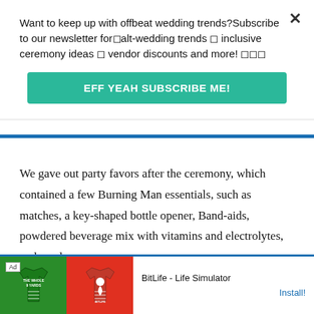Want to keep up with offbeat wedding trends?Subscribe to our newsletter for alt-wedding trends ✨ inclusive ceremony ideas ✨ vendor discounts and more! 💍💃🎉
EFF YEAH SUBSCRIBE ME!
We gave out party favors after the ceremony, which contained a few Burning Man essentials, such as matches, a key-shaped bottle opener, Band-aids, powdered beverage mix with vitamins and electrolytes, and candy.
[Figure (screenshot): Advertisement banner for BitLife - Life Simulator app, showing green football jersey on left and red jersey with sperm icon on right, with Ad badge, title 'BitLife - Life Simulator' and Install button]